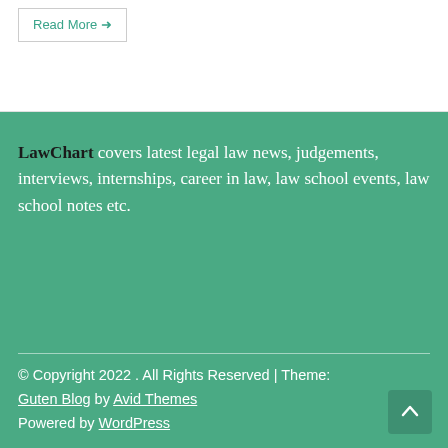Read More →
LawChart covers latest legal law news, judgements, interviews, internships, career in law, law school events, law school notes etc.
© Copyright 2022 . All Rights Reserved | Theme: Guten Blog by Avid Themes
Powered by WordPress